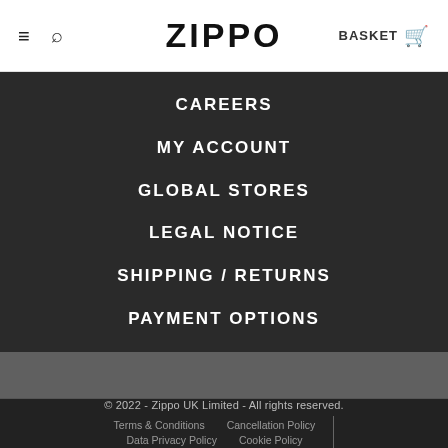≡ 🔍 ZIPPO BASKET 🛒
CAREERS
MY ACCOUNT
GLOBAL STORES
LEGAL NOTICE
SHIPPING / RETURNS
PAYMENT OPTIONS
© 2022 - Zippo UK Limited - All rights reserved.
Terms & Conditions   Cancellation Policy
Data Privacy Policy   Cookie Policy